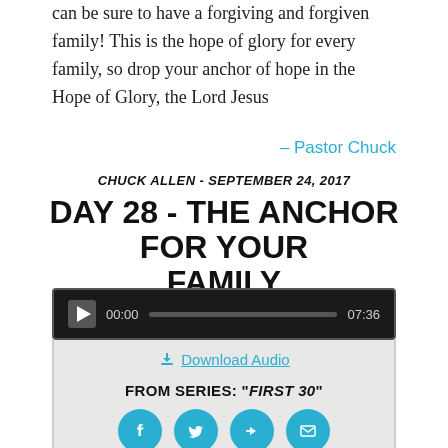can be sure to have a forgiving and forgiven family! This is the hope of glory for every family, so drop your anchor of hope in the Hope of Glory, the Lord Jesus
– Pastor Chuck
CHUCK ALLEN - SEPTEMBER 24, 2017
DAY 28 - THE ANCHOR FOR YOUR FAMILY
[Figure (screenshot): Audio player with play button, time 00:00, progress bar, and duration 07:36]
Download Audio
FROM SERIES: "FIRST 30"
[Figure (infographic): Four social share icons: Facebook, Twitter, Share/Forward, Email]